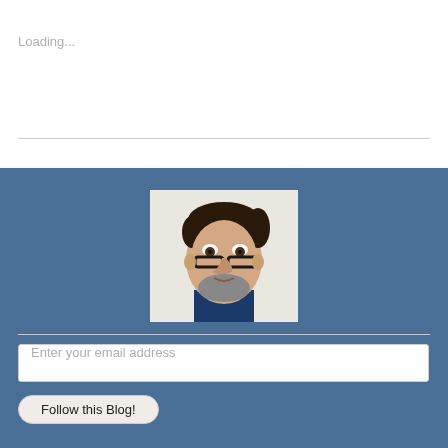Loading...
[Figure (photo): Profile photo of a middle-aged man with glasses lowered on his nose, dark hair, beard, wearing a dark jacket, against a white background]
Enter your email address
Follow this Blog!